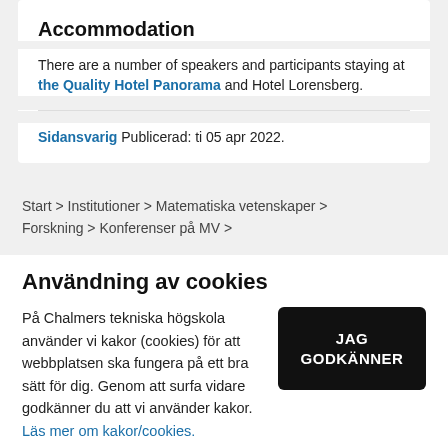Accommodation
There are a number of speakers and participants staying at the Quality Hotel Panorama and Hotel Lorensberg.
Sidansvarig Publicerad: ti 05 apr 2022.
Start > Institutioner > Matematiska vetenskaper > Forskning > Konferenser på MV >
Användning av cookies
På Chalmers tekniska högskola använder vi kakor (cookies) för att webbplatsen ska fungera på ett bra sätt för dig. Genom att surfa vidare godkänner du att vi använder kakor. Läs mer om kakor/cookies.
JAG GODKÄNNER